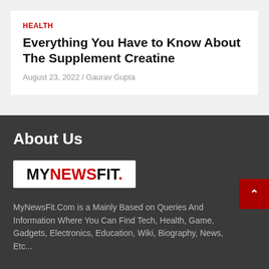HEALTH
Everything You Have to Know About The Supplement Creatine
August 23, 2022 / Gaurav Gupta
About Us
[Figure (logo): MyNewsFit logo: MY in black, NEWS in red, FIT in black, with a red period, on a white background]
MyNewsFit.Com is a Mainly Based on Queries And Information Where You Can Find Tech, Health, Game, Gadgets, Electronics, Education, Wiki, Biography, News, Etc...
Advertise With Us